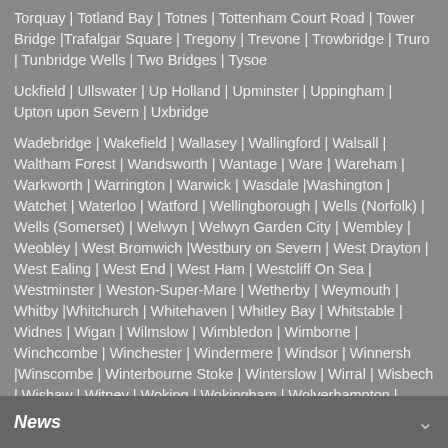Torquay | Totland Bay | Totnes | Tottenham Court Road | Tower Bridge |Trafalgar Square | Tregony | Trevone | Trowbridge | Truro | Tunbridge Wells | Two Bridges | Tysoe
Uckfield | Ullswater | Up Holland | Upminster | Uppingham | Upton upon Severn | Uxbridge
Wadebridge | Wakefield | Wallasey | Wallingford | Walsall | Waltham Forest | Wandsworth | Wantage | Ware | Wareham | Warkworth | Warrington | Warwick | Wasdale |Washington | Watchet | Waterloo | Watford | Wellingborough | Wells (Norfolk) | Wells (Somerset) | Welwyn | Welwyn Garden City | Wembley | Weobley | West Bromwich |Westbury on Severn | West Drayton | West Ealing | West End | West Ham | Westcliff On Sea | Westminster | Weston-Super-Mare | Wetherby | Weymouth | Whitby |Whitchurch | Whitehaven | Whitley Bay | Whitstable | Widnes | Wigan | Wilmslow | Wimbledon | Wimborne | Winchcombe | Winchester | Windermere | Windsor | Winnersh |Winscombe | Winterbourne Stoke | Winterslow | Wirral | Wisbech | Wishaw | Witney | Woking | Wokingham | Wolverhampton | Woodbridge | Woodford Bridge | Woodford Green | Woodstock | Wool | Woolacombe | Wooler | Worcester | Workington | Worksop | Worth | Worthing | Wotton-under-Edge | Wrantage | Wrotham Heath | Wroxall |Wroxham
Yarmouth | Yelverton | Yeovil | York | Yorkshire Dales | Yorkshire Moors National Park
News